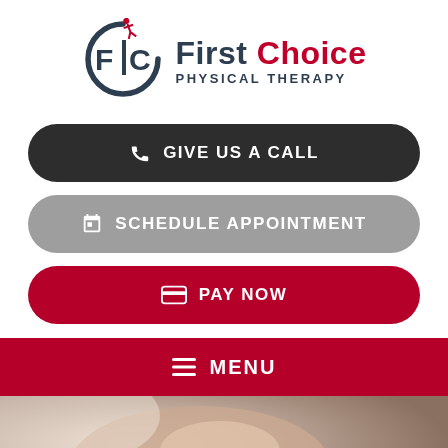[Figure (logo): First Choice Physical Therapy logo with circular FC emblem and stylized human figure, text reads 'First Choice PHYSICAL THERAPY']
GIVE US A CALL
SCHEDULE APPOINTMENT
PAY NOW
MENU
[Figure (photo): A physical therapist working on a patient's shoulder/arm, blurred background, warm lighting]